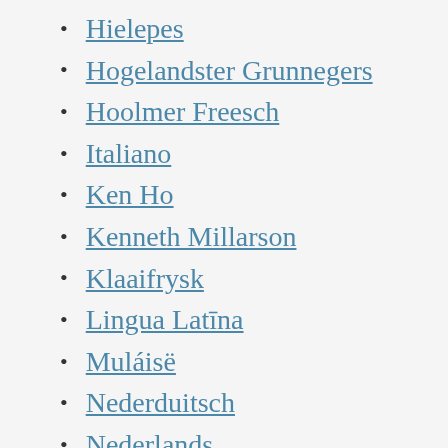Hielepes
Hogelandster Grunnegers
Hoolmer Freesch
Italiano
Ken Ho
Kenneth Millarson
Klaaifrysk
Lingua Latīna
Muláisë
Nederduitsch
Nederlands
Operation X
Seeltersk
Sranantongo